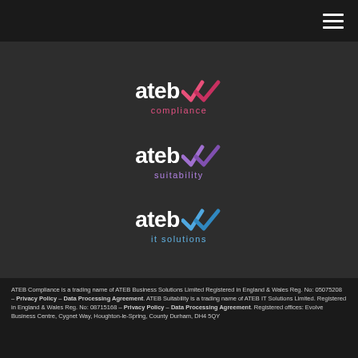[Figure (logo): ateb compliance logo – white 'ateb' text with pink double-checkmark, pink 'compliance' subtitle]
[Figure (logo): ateb suitability logo – white 'ateb' text with purple double-checkmark, purple 'suitability' subtitle]
[Figure (logo): ateb it solutions logo – white 'ateb' text with blue double-checkmark, blue 'it solutions' subtitle]
ATEB Compliance is a trading name of ATEB Business Solutions Limited Registered in England & Wales Reg. No: 05075208 – Privacy Policy – Data Processing Agreement. ATEB Suitability is a trading name of ATEB IT Solutions Limited. Registered in England & Wales Reg. No: 08715168 – Privacy Policy – Data Processing Agreement. Registered offices: Evolve Business Centre, Cygnet Way, Houghton-le-Spring, County Durham, DH4 5QY